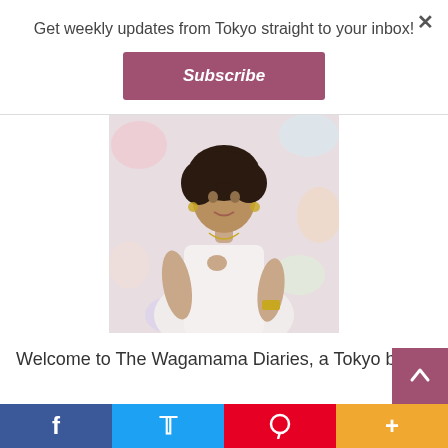×
Get weekly updates from Tokyo straight to your inbox!
Subscribe
[Figure (photo): A woman with curly hair wearing a white outfit and gold jewelry, posing against a floral background]
Welcome to The Wagamama Diaries, a Tokyo beaut
[Figure (infographic): Social media share bar with Facebook, Twitter, Pinterest, and More buttons]